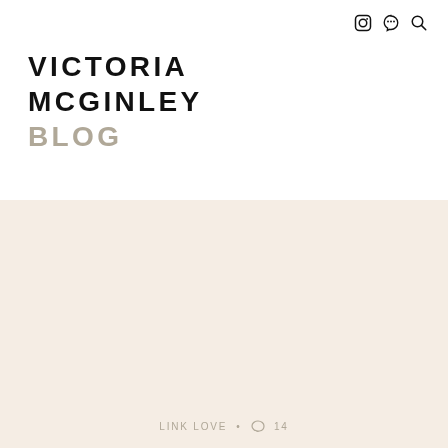VICTORIA MCGINLEY BLOG
LINK LOVE • ☁ 14
Week/End
[Figure (photo): Overhead photo showing a box of mixed fresh fruit (oranges, apples, grapes, bananas) on the left and a sliced loaf of bread with berries and a dark bottle on a blue patterned cloth on the right.]